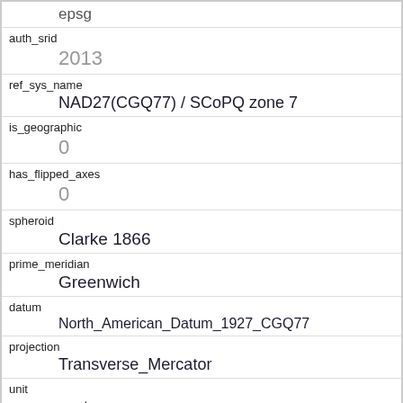| epsg |  |
| auth_srid | 2013 |
| ref_sys_name | NAD27(CGQ77) / SCoPQ zone 7 |
| is_geographic | 0 |
| has_flipped_axes | 0 |
| spheroid | Clarke 1866 |
| prime_meridian | Greenwich |
| datum | North_American_Datum_1927_CGQ77 |
| projection | Transverse_Mercator |
| unit | metre |
| axis_1_name | X |